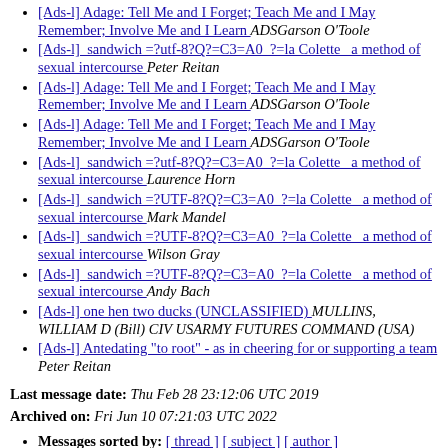[Ads-l] Adage: Tell Me and I Forget; Teach Me and I May Remember; Involve Me and I Learn  ADSGarson O'Toole
[Ads-l]  sandwich =?utf-8?Q?=C3=A0  ?=la Colette  a method of sexual intercourse  Peter Reitan
[Ads-l] Adage: Tell Me and I Forget; Teach Me and I May Remember; Involve Me and I Learn  ADSGarson O'Toole
[Ads-l] Adage: Tell Me and I Forget; Teach Me and I May Remember; Involve Me and I Learn  ADSGarson O'Toole
[Ads-l]  sandwich =?utf-8?Q?=C3=A0  ?=la Colette  a method of sexual intercourse  Laurence Horn
[Ads-l]  sandwich =?UTF-8?Q?=C3=A0  ?=la Colette  a method of sexual intercourse  Mark Mandel
[Ads-l]  sandwich =?UTF-8?Q?=C3=A0  ?=la Colette  a method of sexual intercourse  Wilson Gray
[Ads-l]  sandwich =?UTF-8?Q?=C3=A0  ?=la Colette  a method of sexual intercourse  Andy Bach
[Ads-l] one hen two ducks (UNCLASSIFIED)  MULLINS, WILLIAM D (Bill) CIV USARMY FUTURES COMMAND (USA)
[Ads-l] Antedating "to root" - as in cheering for or supporting a team  Peter Reitan
Last message date: Thu Feb 28 23:12:06 UTC 2019
Archived on: Fri Jun 10 07:21:03 UTC 2022
Messages sorted by: [ thread ] [ subject ] [ author ]